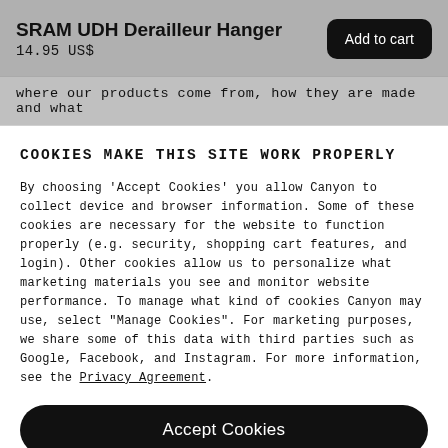SRAM UDH Derailleur Hanger
14.95 US$
Add to cart
where our products come from, how they are made and what
COOKIES MAKE THIS SITE WORK PROPERLY
By choosing 'Accept Cookies' you allow Canyon to collect device and browser information. Some of these cookies are necessary for the website to function properly (e.g. security, shopping cart features, and login). Other cookies allow us to personalize what marketing materials you see and monitor website performance. To manage what kind of cookies Canyon may use, select "Manage Cookies". For marketing purposes, we share some of this data with third parties such as Google, Facebook, and Instagram. For more information, see the Privacy Agreement.
Accept Cookies
Manage Cookies